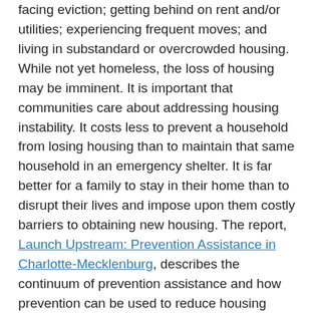facing eviction; getting behind on rent and/or utilities; experiencing frequent moves; and living in substandard or overcrowded housing. While not yet homeless, the loss of housing may be imminent. It is important that communities care about addressing housing instability. It costs less to prevent a household from losing housing than to maintain that same household in an emergency shelter. It is far better for a family to stay in their home than to disrupt their lives and impose upon them costly barriers to obtaining new housing. The report, Launch Upstream: Prevention Assistance in Charlotte-Mecklenburg, describes the continuum of prevention assistance and how prevention can be used to reduce housing instability and therefore reduce the number of people who face homelessness every day.
Housing instability is often also defined by using the